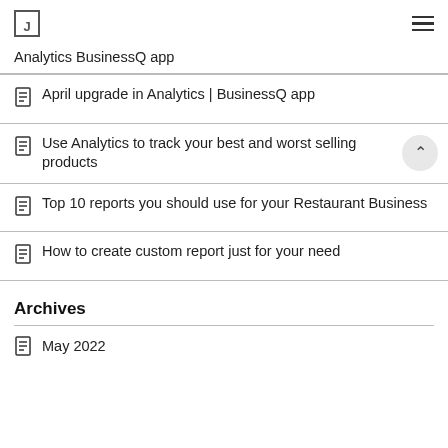Logo / Navigation header
Analytics BusinessQ app
April upgrade in Analytics | BusinessQ app
Use Analytics to track your best and worst selling products
Top 10 reports you should use for your Restaurant Business
How to create custom report just for your need
Archives
May 2022